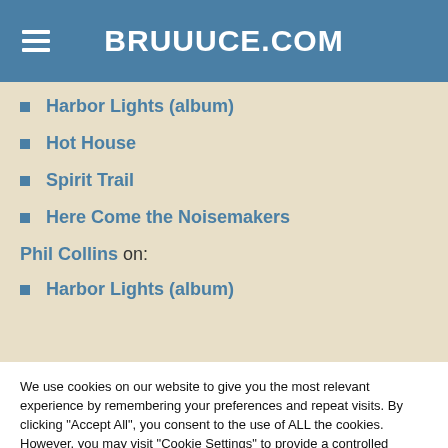BRUUUCE.COM
Harbor Lights (album)
Hot House
Spirit Trail
Here Come the Noisemakers
Phil Collins on:
Harbor Lights (album)
We use cookies on our website to give you the most relevant experience by remembering your preferences and repeat visits. By clicking "Accept All", you consent to the use of ALL the cookies. However, you may visit "Cookie Settings" to provide a controlled consent.